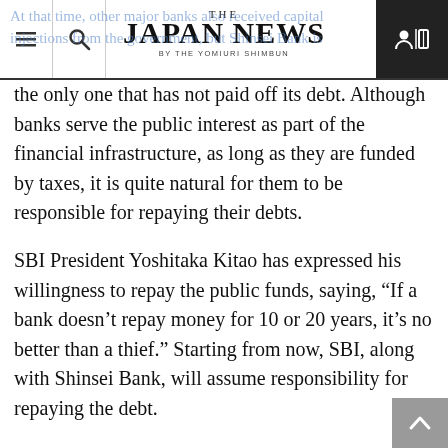THE JAPAN NEWS BY THE YOMIURI SHIMBUN
At that time, other major banks also received capital injections from the government, but Shinsei Bank is the only one that has not paid off its debt. Although banks serve the public interest as part of the financial infrastructure, as long as they are funded by taxes, it is quite natural for them to be responsible for repaying their debts.
SBI President Yoshitaka Kitao has expressed his willingness to repay the public funds, saying, “If a bank doesn’t repay money for 10 or 20 years, it’s no better than a thief.” Starting from now, SBI, along with Shinsei Bank, will assume responsibility for repaying the debt.
It is hoped that concrete measures will be presented